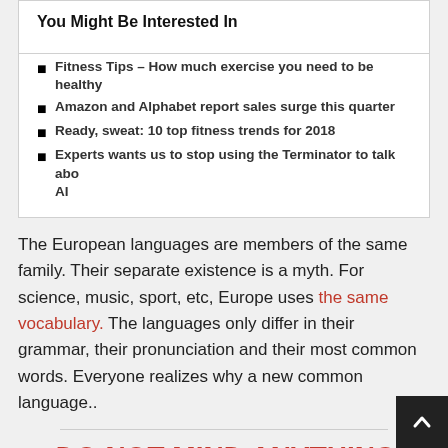You Might Be Interested In
Fitness Tips – How much exercise you need to be healthy
Amazon and Alphabet report sales surge this quarter
Ready, sweat: 10 top fitness trends for 2018
Experts wants us to stop using the Terminator to talk about AI
The European languages are members of the same family. Their separate existence is a myth. For science, music, sport, etc, Europe uses the same vocabulary. The languages only differ in their grammar, their pronunciation and their most common words. Everyone realizes why a new common language..
DO NOT MIND ANYTHING THAT ANYONE TELLS YOU ABOUT ANYONE ELSE